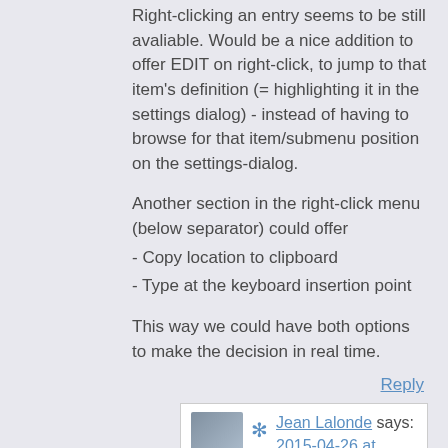Right-clicking an entry seems to be still avaliable. Would be a nice addition to offer EDIT on right-click, to jump to that item's definition (= highlighting it in the settings dialog) - instead of having to browse for that item/submenu position on the settings-dialog.
Another section in the right-click menu (below separator) could offer
- Copy location to clipboard
- Type at the keyboard insertion point
This way we could have both options to make the decision in real time.
Reply
Jean Lalonde says: 2015-04-26 at 15:42
Hi Stefan,
The suggestion of right-clicking a menu